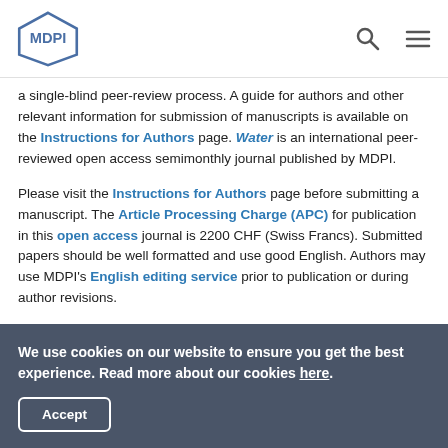MDPI
a single-blind peer-review process. A guide for authors and other relevant information for submission of manuscripts is available on the Instructions for Authors page. Water is an international peer-reviewed open access semimonthly journal published by MDPI.
Please visit the Instructions for Authors page before submitting a manuscript. The Article Processing Charge (APC) for publication in this open access journal is 2200 CHF (Swiss Francs). Submitted papers should be well formatted and use good English. Authors may use MDPI's English editing service prior to publication or during author revisions.
Keywords
We use cookies on our website to ensure you get the best experience. Read more about our cookies here.
Accept